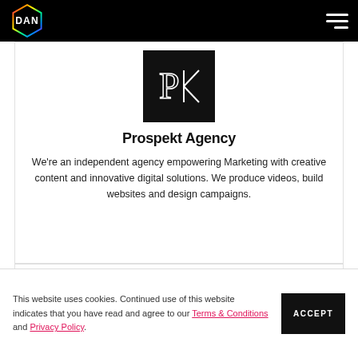DAN
[Figure (logo): Prospekt Agency logo — white stylized PK letters on black square background]
Prospekt Agency
We're an independent agency empowering Marketing with creative content and innovative digital solutions. We produce videos, build websites and design campaigns.
VIEW PROFILE    Visit Website
This website uses cookies. Continued use of this website indicates that you have read and agree to our Terms & Conditions and Privacy Policy.